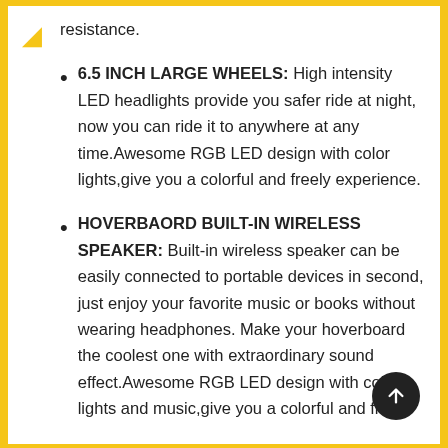resistance.
6.5 INCH LARGE WHEELS: High intensity LED headlights provide you safer ride at night, now you can ride it to anywhere at any time.Awesome RGB LED design with color lights,give you a colorful and freely experience.
HOVERBAORD BUILT-IN WIRELESS SPEAKER: Built-in wireless speaker can be easily connected to portable devices in second, just enjoy your favorite music or books without wearing headphones. Make your hoverboard the coolest one with extraordinary sound effect.Awesome RGB LED design with color lights and music,give you a colorful and freely